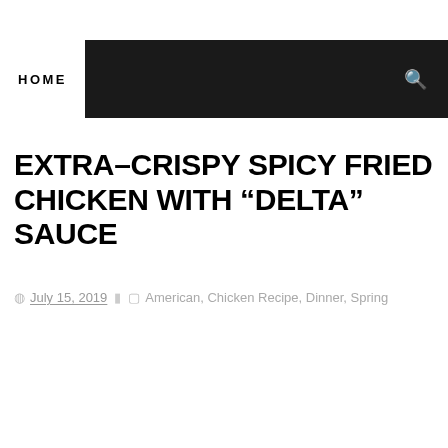HOME
EXTRA-CRISPY SPICY FRIED CHICKEN WITH “DELTA” SAUCE
July 15, 2019   American, Chicken Recipe, Dinner, Spring